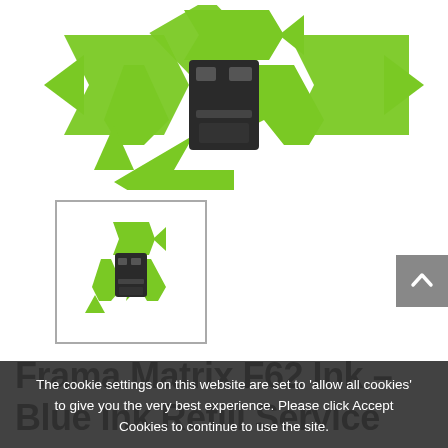[Figure (illustration): Large green recycling arrows logo with a black ink cartridge in the center, shown on white background]
[Figure (illustration): Thumbnail image with border: green recycling arrows logo with black ink cartridge, same as main image]
[Figure (other): Gray back-to-top button with upward chevron arrow]
Frama Matrix F62 Ink – Blue Ink Refill Service
The cookie settings on this website are set to 'allow all cookies' to give you the very best experience. Please click Accept Cookies to continue to use the site.